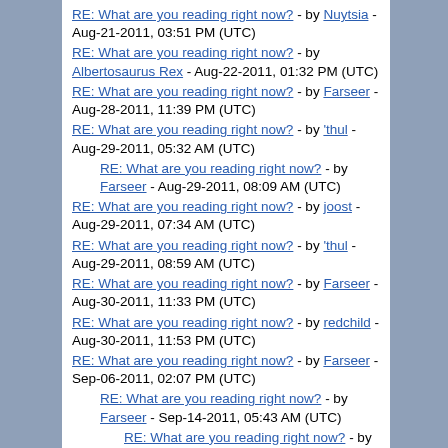RE: What are you reading right now? - by Nuytsia - Aug-21-2011, 03:51 PM (UTC)
RE: What are you reading right now? - by Albertosaurus Rex - Aug-22-2011, 01:32 PM (UTC)
RE: What are you reading right now? - by Farseer - Aug-28-2011, 11:39 PM (UTC)
RE: What are you reading right now? - by 'thul - Aug-29-2011, 05:32 AM (UTC)
RE: What are you reading right now? - by Farseer - Aug-29-2011, 08:09 AM (UTC)
RE: What are you reading right now? - by joost - Aug-29-2011, 07:34 AM (UTC)
RE: What are you reading right now? - by 'thul - Aug-29-2011, 08:59 AM (UTC)
RE: What are you reading right now? - by Farseer - Aug-30-2011, 11:33 PM (UTC)
RE: What are you reading right now? - by redchild - Aug-30-2011, 11:53 PM (UTC)
RE: What are you reading right now? - by Farseer - Sep-06-2011, 02:07 PM (UTC)
RE: What are you reading right now? - by Farseer - Sep-14-2011, 05:43 AM (UTC)
RE: What are you reading right now? - by fool-